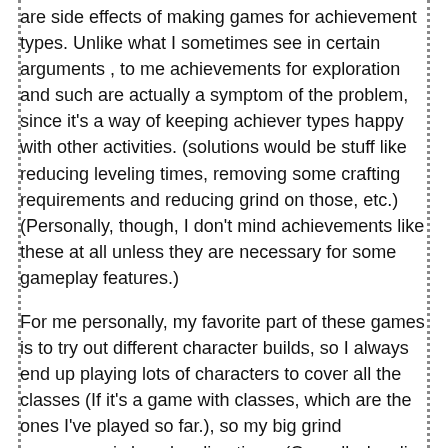are side effects of making games for achievement types. Unlike what I sometimes see in certain arguments , to me achievements for exploration and such are actually a symptom of the problem, since it's a way of keeping achiever types happy with other activities. (solutions would be stuff like reducing leveling times, removing some crafting requirements and reducing grind on those, etc.) (Personally, though, I don't mind achievements like these at all unless they are necessary for some gameplay features.)
For me personally, my favorite part of these games is to try out different character builds, so I always end up playing lots of characters to cover all the classes (If it's a game with classes, which are the ones I've played so far.), so my big grind annoyance is long leveling times (Or really, leveling time at all, and this includes “skill up” gameplay also), and restrictions on skills that mean I get little time to actually try them out. Guild wars is the only game I'm doing at the moment (though I have been playing it spottily recently),